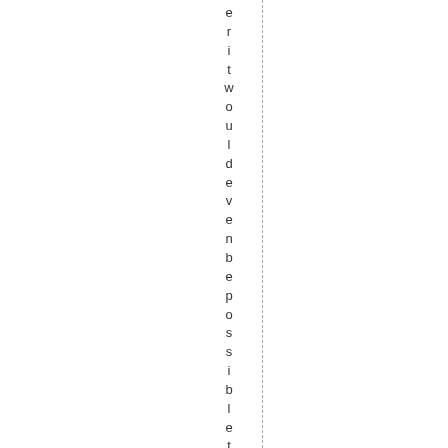eritwouldeven be possible to taken